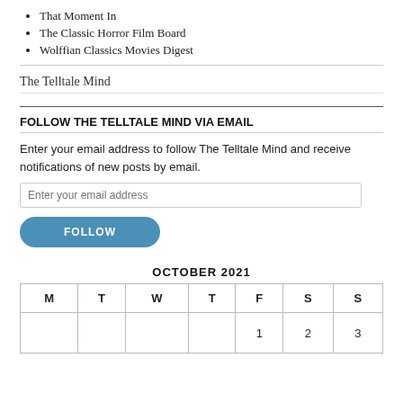That Moment In
The Classic Horror Film Board
Wolffian Classics Movies Digest
The Telltale Mind
FOLLOW THE TELLTALE MIND VIA EMAIL
Enter your email address to follow The Telltale Mind and receive notifications of new posts by email.
FOLLOW
| M | T | W | T | F | S | S |
| --- | --- | --- | --- | --- | --- | --- |
|  |  |  |  | 1 | 2 | 3 |